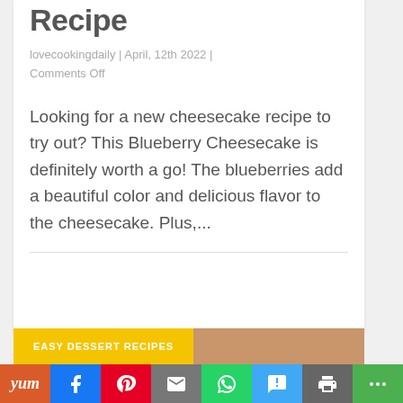Recipe
lovecookingdaily | April, 12th 2022 | Comments Off
Looking for a new cheesecake recipe to try out? This Blueberry Cheesecake is definitely worth a go! The blueberries add a beautiful color and delicious flavor to the cheesecake. Plus,...
[Figure (other): Easy Dessert Recipes image strip with yellow label and food photo]
[Figure (infographic): Social sharing bar with Yum, Facebook, Pinterest, Email, WhatsApp, SMS, Print, More buttons]